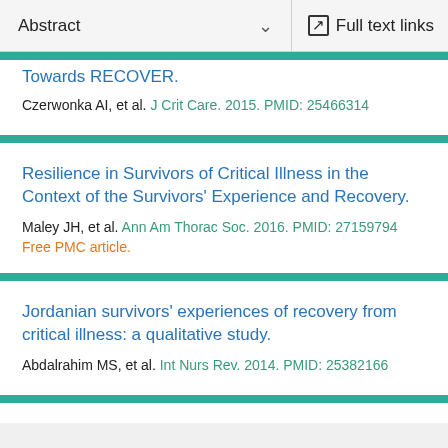Abstract   Full text links
Towards RECOVER.
Czerwonka AI, et al. J Crit Care. 2015. PMID: 25466314
Resilience in Survivors of Critical Illness in the Context of the Survivors' Experience and Recovery.
Maley JH, et al. Ann Am Thorac Soc. 2016. PMID: 27159794
Free PMC article.
Jordanian survivors' experiences of recovery from critical illness: a qualitative study.
Abdalrahim MS, et al. Int Nurs Rev. 2014. PMID: 25382166